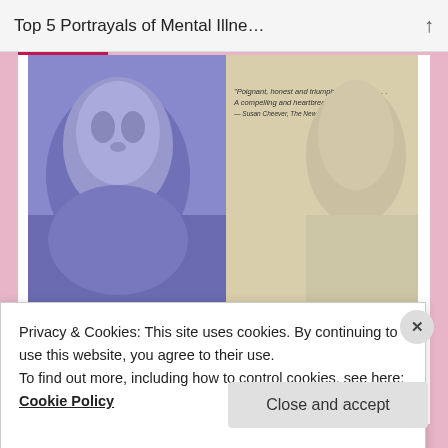Top 5 Portrayals of Mental Illne…
[Figure (photo): Book cover of 'Girl, Interrupted' showing a woman's face in blue/purple tones on the left half and a beige/cream background on the right half, with a quote at top right. Title 'GIRL, INTERRUPTED' displayed in bold uppercase handwritten-style font in the center. A second partial view of the same cover is shown below.]
Privacy & Cookies: This site uses cookies. By continuing to use this website, you agree to their use.
To find out more, including how to control cookies, see here:
Cookie Policy
Close and accept